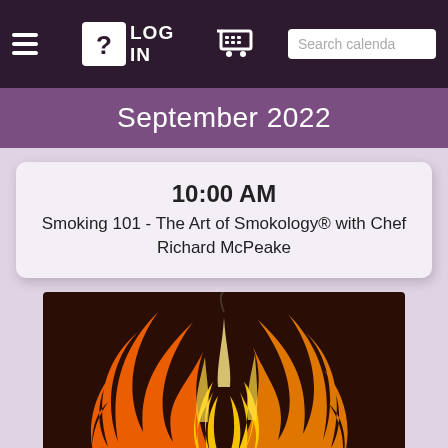LOG IN | cart | Search calenda
September 2022
10:00 AM
Smoking 101 - The Art of Smokology® with Chef Richard McPeake
[Figure (photo): A close-up photo of flames burning on a barbecue grill grate with glowing coals and charcoal underneath]
20 Seats remaining
5:00 PM